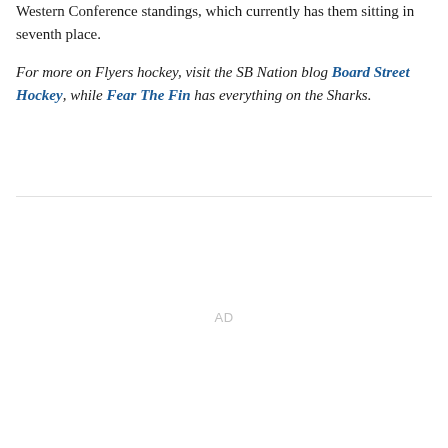Western Conference standings, which currently has them sitting in seventh place.
For more on Flyers hockey, visit the SB Nation blog Board Street Hockey, while Fear The Fin has everything on the Sharks.
AD